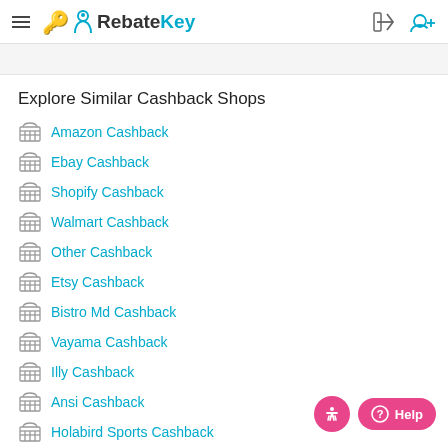RebateKey
Explore Similar Cashback Shops
Amazon Cashback
Ebay Cashback
Shopify Cashback
Walmart Cashback
Other Cashback
Etsy Cashback
Bistro Md Cashback
Vayama Cashback
Illy Cashback
Ansi Cashback
Holabird Sports Cashback